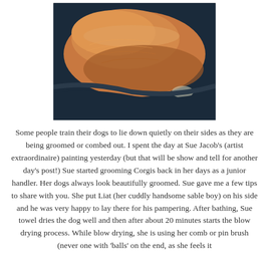[Figure (photo): Close-up photo of a sable Corgi dog lying on its side, showing the dog's orange-brown fur coat against a dark blue background.]
Some people train their dogs to lie down quietly on their sides as they are being groomed or combed out. I spent the day at Sue Jacob's (artist extraordinaire) painting yesterday (but that will be show and tell for another day's post!) Sue started grooming Corgis back in her days as a junior handler. Her dogs always look beautifully groomed. Sue gave me a few tips to share with you. She put Liat (her cuddly handsome sable boy) on his side and he was very happy to lay there for his pampering. After bathing, Sue towel dries the dog well and then after about 20 minutes starts the blow drying process. While blow drying, she is using her comb or pin brush (never one with 'balls' on the end, as she feels it